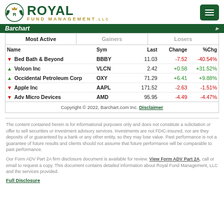[Figure (logo): Royal Fund Management LLC logo with green circular emblem and crown]
| Name | Sym | Last | Change | %Chg |
| --- | --- | --- | --- | --- |
| Bed Bath & Beyond | BBBY | 11.03 | -7.52 | -40.54% |
| Volcon Inc | VLCN | 2.42 | +0.58 | +31.52% |
| Occidental Petroleum Corp | OXY | 71.29 | +6.41 | +9.88% |
| Apple Inc | AAPL | 171.52 | -2.63 | -1.51% |
| Adv Micro Devices | AMD | 95.95 | -4.49 | -4.47% |
Copyright © 2022, Barchart.com Inc. Disclaimer
The content contained herein is for informational purposes only and does not constitute a solicitation or offer to sell securities or investment advisory services. Investments are not FDIC-insured, nor are they deposits of or guaranteed by a bank or any other entity, so they may lose value. Past performance is not a guarantee of future results and clients should not assume that future performance will be comparable to past performance.
Our Form ADV Part 2A firm disclosure document is available for review. View Form ADV Part 2A, call or email to request a copy. This document contains detailed information about Royal Fund Management, LLC and the services provided.
Full Disclosure